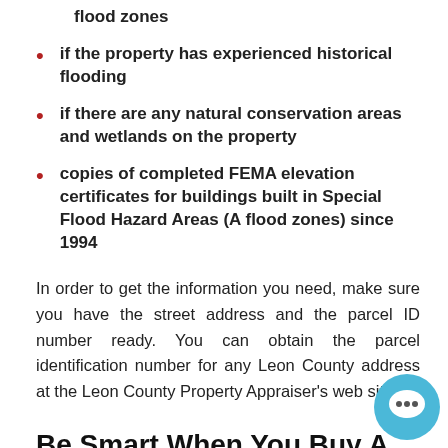flood zones
if the property has experienced historical flooding
if there are any natural conservation areas and wetlands on the property
copies of completed FEMA elevation certificates for buildings built in Special Flood Hazard Areas (A flood zones) since 1994
In order to get the information you need, make sure you have the street address and the parcel ID number ready. You can obtain the parcel identification number for any Leon County address at the Leon County Property Appraiser's web site.
Be Smart When You Buy A Home
We like to encourage homebuyers to follow a process to save money when they buy a home. You can